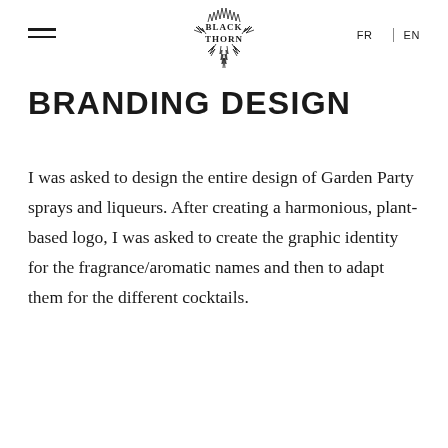Black Horn logo — FR | EN navigation
BRANDING DESIGN
I was asked to design the entire design of Garden Party sprays and liqueurs. After creating a harmonious, plant-based logo, I was asked to create the graphic identity for the fragrance/aromatic names and then to adapt them for the different cocktails.